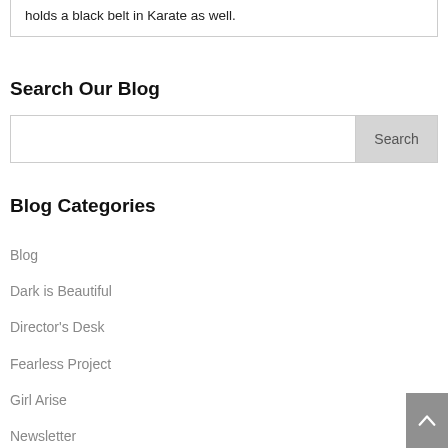holds a black belt in Karate as well.
Search Our Blog
Search
Blog Categories
Blog
Dark is Beautiful
Director's Desk
Fearless Project
Girl Arise
Newsletter
Safe Schools Project
She Leads